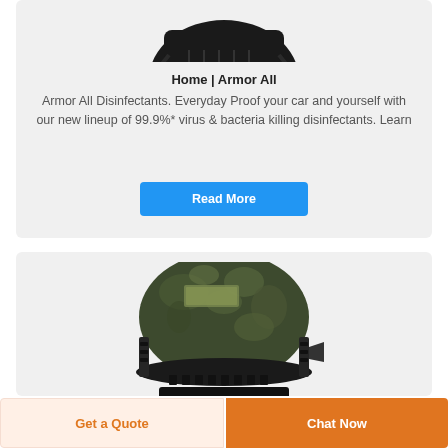[Figure (photo): Bottom view of a black helmet with straps, cropped at top of card]
Home | Armor All
Armor All Disinfectants. Everyday Proof your car and yourself with our new lineup of 99.9%* virus & bacteria killing disinfectants. Learn
Read More
[Figure (photo): Military/tactical helmet with camouflage cover (multicam pattern) viewed from front-top angle]
Get a Quote
Chat Now